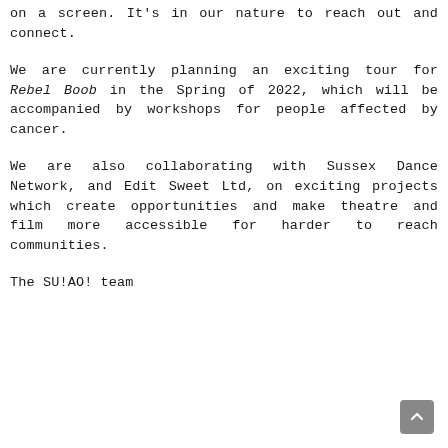on a screen. It's in our nature to reach out and connect.
We are currently planning an exciting tour for Rebel Boob in the Spring of 2022, which will be accompanied by workshops for people affected by cancer.
We are also collaborating with Sussex Dance Network, and Edit Sweet Ltd, on exciting projects which create opportunities and make theatre and film more accessible for harder to reach communities.
The SU!AO! team